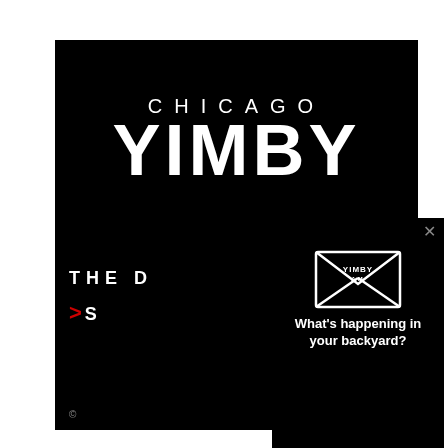[Figure (screenshot): Chicago YIMBY website background panel showing logo on black background]
CHICAGO YIMBY
THE D
> S
[Figure (screenshot): Popup modal on black background with envelope icon containing YIMBY AM logo and text: What's happening in your backyard?]
What's happening in your backyard?